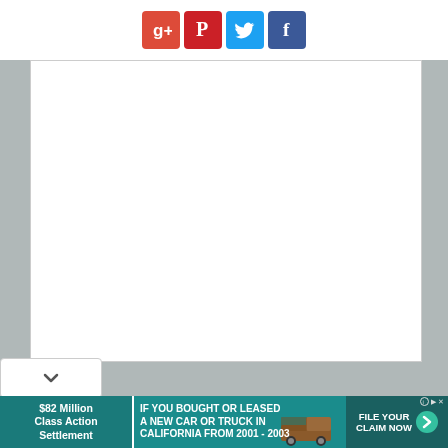[Figure (other): Social sharing icons bar with Google+, Pinterest, Twitter, and Facebook buttons]
[Figure (other): Large white blank content area (main document/article body, content not visible)]
[Figure (other): Dropdown chevron button]
[Figure (other): Advertisement banner: $82 Million Class Action Settlement - IF YOU BOUGHT OR LEASED A NEW CAR OR TRUCK IN CALIFORNIA FROM 2001 - 2003 - FILE YOUR CLAIM NOW]